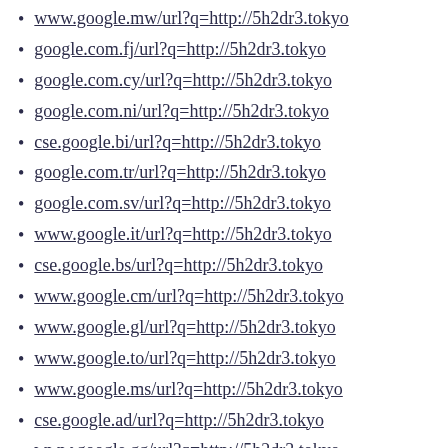www.google.mw/url?q=http://5h2dr3.tokyo
google.com.fj/url?q=http://5h2dr3.tokyo
google.com.cy/url?q=http://5h2dr3.tokyo
google.com.ni/url?q=http://5h2dr3.tokyo
cse.google.bi/url?q=http://5h2dr3.tokyo
google.com.tr/url?q=http://5h2dr3.tokyo
google.com.sv/url?q=http://5h2dr3.tokyo
www.google.it/url?q=http://5h2dr3.tokyo
cse.google.bs/url?q=http://5h2dr3.tokyo
www.google.cm/url?q=http://5h2dr3.tokyo
www.google.gl/url?q=http://5h2dr3.tokyo
www.google.to/url?q=http://5h2dr3.tokyo
www.google.ms/url?q=http://5h2dr3.tokyo
cse.google.ad/url?q=http://5h2dr3.tokyo
www.google.gg/url?q=http://5h2dr3.tokyo
cse.google.bf/url?q=http://5h2dr3.tokyo
google.com.co/url?q=http://5h2dr3.tokyo
google.com.ag/url?q=http://5h2dr3.tokyo
google.com.sb/url?q=http://5h2dr3.tokyo